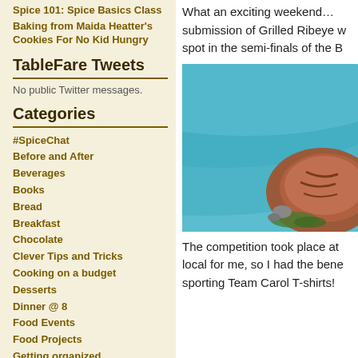Spice 101: Spice Basics Class
Baking from Maida Heatter's Cookies For No Kid Hungry
TableFare Tweets
No public Twitter messages.
Categories
#SpiceChat
Before and After
Beverages
Books
Bread
Breakfast
Chocolate
Clever Tips and Tricks
Cooking on a budget
Desserts
Dinner @ 8
Food Events
Food Projects
Getting organized
Grilling
Holiday Food
Hong Kong
Nibbles and Snacks
No Kid Hungry
Operation Frontline
What an exciting weekend… submission of Grilled Ribeye w spot in the semi-finals of the B
[Figure (photo): Grilled ribeye steak on a blue plate, close-up food photo]
The competition took place at local for me, so I had the bene sporting Team Carol T-shirts!